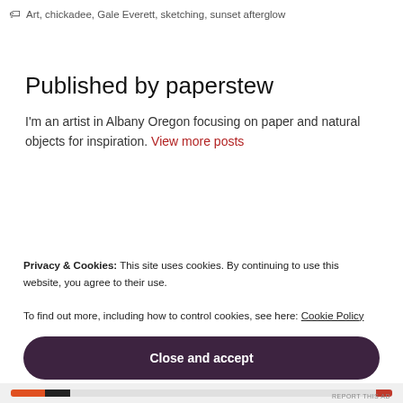Art, chickadee, Gale Everett, sketching, sunset afterglow
Published by paperstew
I'm an artist in Albany Oregon focusing on paper and natural objects for inspiration. View more posts
Privacy & Cookies: This site uses cookies. By continuing to use this website, you agree to their use.
To find out more, including how to control cookies, see here: Cookie Policy
Close and accept